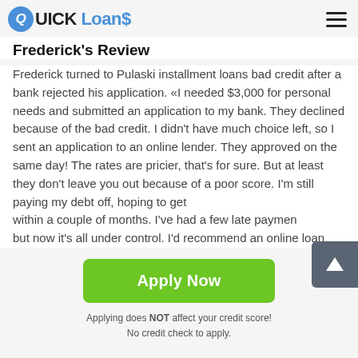QUICK Loans
Frederick's Review
Frederick turned to Pulaski installment loans bad credit after a bank rejected his application. «I needed $3,000 for personal needs and submitted an application to my bank. They declined because of the bad credit. I didn't have much choice left, so I sent an application to an online lender. They approved on the same day! The rates are pricier, that's for sure. But at least they don't leave you out because of a poor score. I'm still paying my debt off, hoping to get within a couple of months. I've had a few late payments but now it's all under control. I'd recommend an online loan
Apply Now
Applying does NOT affect your credit score!
No credit check to apply.